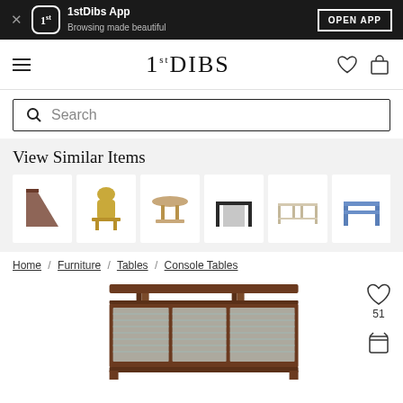1stDibs App — Browsing made beautiful — OPEN APP
[Figure (logo): 1stDibs logo navigation bar with hamburger menu, heart icon, and shopping bag icon]
Search
View Similar Items
[Figure (photo): Row of similar console table product thumbnails]
Home / Furniture / Tables / Console Tables
[Figure (photo): Console table product image with wood frame and glass panels, 51 likes]